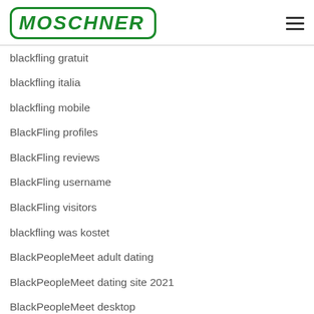[Figure (logo): MOSCHNER logo in green with rounded rectangle border]
blackfling gratuit
blackfling italia
blackfling mobile
BlackFling profiles
BlackFling reviews
BlackFling username
BlackFling visitors
blackfling was kostet
BlackPeopleMeet adult dating
BlackPeopleMeet dating site 2021
BlackPeopleMeet desktop
blackpeoplemeet gratis